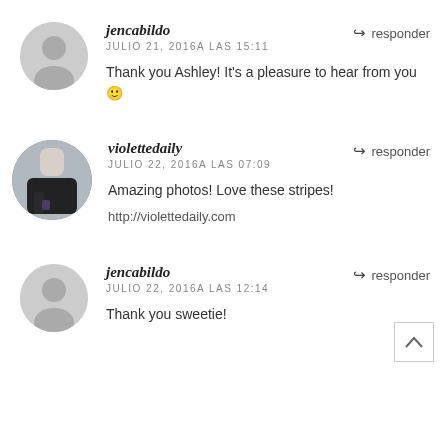jencabildo
JULIO 21, 2016A LAS 15:11
Thank you Ashley! It's a pleasure to hear from you 🙂
responder
violettedaily
JULIO 22, 2016A LAS 07:09
Amazing photos! Love these stripes!
http://violettedaily.com
responder
jencabildo
JULIO 22, 2016A LAS 12:14
Thank you sweetie!
responder